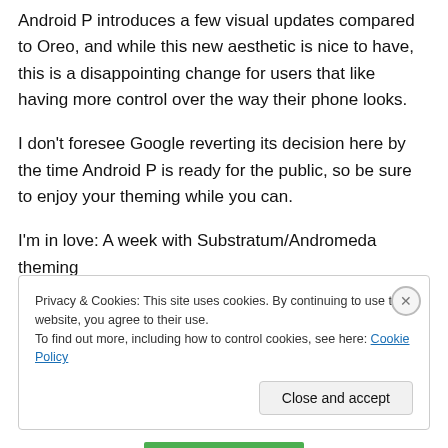Android P introduces a few visual updates compared to Oreo, and while this new aesthetic is nice to have, this is a disappointing change for users that like having more control over the way their phone looks.
I don't foresee Google reverting its decision here by the time Android P is ready for the public, so be sure to enjoy your theming while you can.
I'm in love: A week with Substratum/Andromeda theming
Privacy & Cookies: This site uses cookies. By continuing to use this website, you agree to their use.
To find out more, including how to control cookies, see here: Cookie Policy
Close and accept